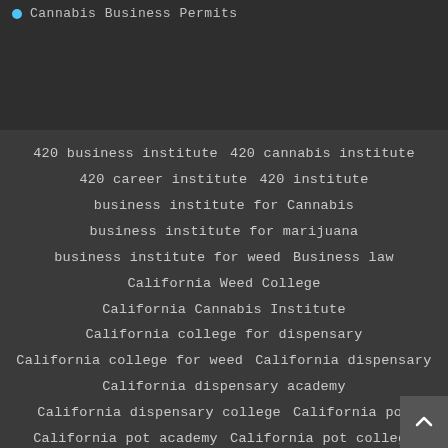Cannabis Business Permits
420 business institute  420 cannabis institute  420 career institute  420 institute  business institute for Cannabis  business institute for marijuana  business institute for weed  Business law  California Weed College  California Cannabis Institute  California college for dispensary  California college for weed  California dispensary  California dispensary academy  California dispensary college  California pot  California pot academy  California pot college  California university cannabis  California university for cannabis  California university for marijuana  California weed university  Cannabis Academy